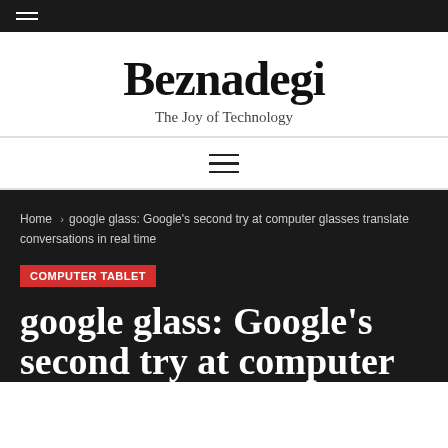Beznadegi — The Joy of Technology
Home > google glass: Google's second try at computer glasses translate conversations in real time
COMPUTER TABLET
google glass: Google's second try at computer